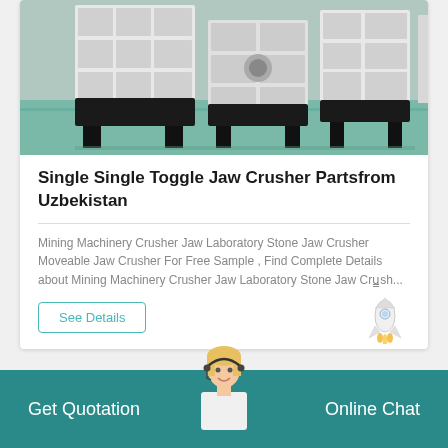[Figure (photo): Industrial jaw crusher machines in a factory/warehouse setting, white and black colored heavy equipment on green floor]
Single Single Toggle Jaw Crusher Partsfrom Uzbekistan
Mining Machinery Crusher Jaw Laboratory Stone Jaw Crusher Moveable Jaw Crusher For Free Sample , Find Complete Details about Mining Machinery Crusher Jaw Laboratory Stone Jaw Cru̳sh...
See Details
Get Quotation
Online Chat
[Figure (photo): Customer service agent - blond woman wearing headset, smiling]